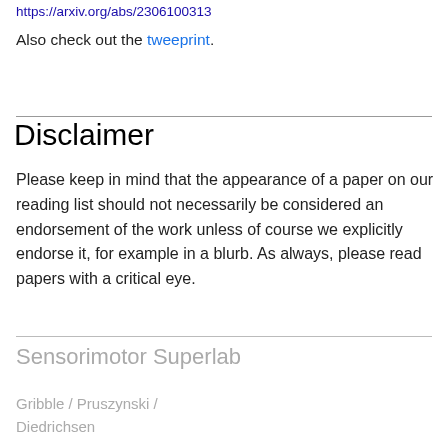https://arxiv.org/abs/2306100313
Also check out the tweeprint.
Disclaimer
Please keep in mind that the appearance of a paper on our reading list should not necessarily be considered an endorsement of the work unless of course we explicitly endorse it, for example in a blurb. As always, please read papers with a critical eye.
Sensorimotor Superlab
Gribble / Pruszynski / Diedrichsen